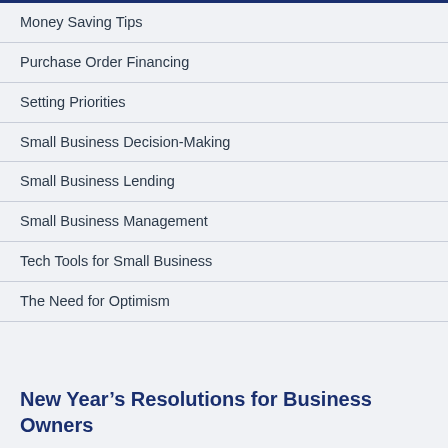Money Saving Tips
Purchase Order Financing
Setting Priorities
Small Business Decision-Making
Small Business Lending
Small Business Management
Tech Tools for Small Business
The Need for Optimism
New Year’s Resolutions for Business Owners